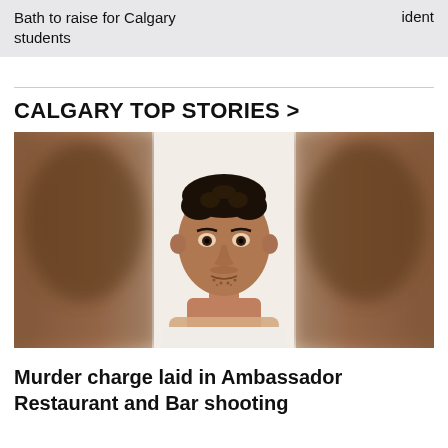Bath to raise for Calgary students ident
CALGARY TOP STORIES >
[Figure (photo): Mugshot-style photo of a man with short curly dark hair, wearing a white shirt, against a light background. The sides of the image are blurred showing a darker background.]
Murder charge laid in Ambassador Restaurant and Bar shooting